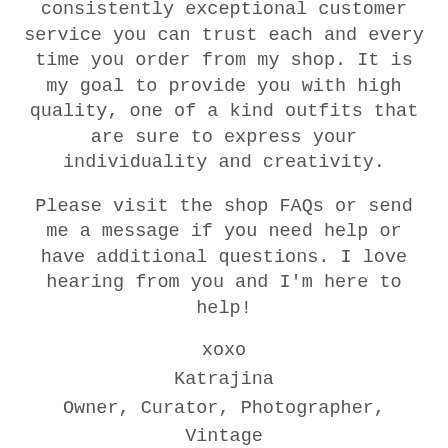I am dedicated to providing consistently exceptional customer service you can trust each and every time you order from my shop. It is my goal to provide you with high quality, one of a kind outfits that are sure to express your individuality and creativity.
Please visit the shop FAQs or send me a message if you need help or have additional questions. I love hearing from you and I'm here to help!
xoxo
Katrajina
Owner, Curator, Photographer, Vintage Obsessed Human